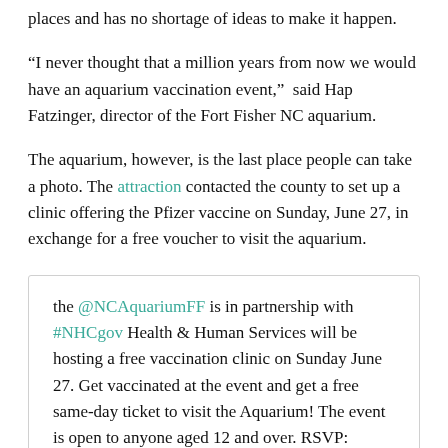places and has no shortage of ideas to make it happen.
“I never thought that a million years from now we would have an aquarium vaccination event,” said Hap Fatzinger, director of the Fort Fisher NC aquarium.
The aquarium, however, is the last place people can take a photo. The attraction contacted the county to set up a clinic offering the Pfizer vaccine on Sunday, June 27, in exchange for a free voucher to visit the aquarium.
the @NCAquariumFF is in partnership with #NHCgov Health & Human Services will be hosting a free vaccination clinic on Sunday June 27. Get vaccinated at the event and get a free same-day ticket to visit the Aquarium! The event is open to anyone aged 12 and over. RSVP: https://t.co/ML1olDjP5q pic.twitter.com/8tAXclNuvIs